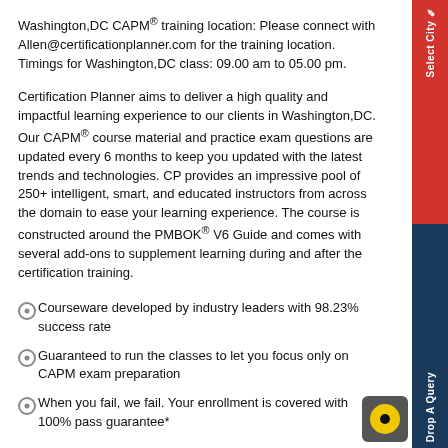Washington,DC CAPM® training location: Please connect with Allen@certificationplanner.com for the training location. Timings for Washington,DC class: 09.00 am to 05.00 pm.
Certification Planner aims to deliver a high quality and impactful learning experience to our clients in Washington,DC. Our CAPM® course material and practice exam questions are updated every 6 months to keep you updated with the latest trends and technologies. CP provides an impressive pool of 250+ intelligent, smart, and educated instructors from across the domain to ease your learning experience. The course is constructed around the PMBOK® V6 Guide and comes with several add-ons to supplement learning during and after the certification training.
Courseware developed by industry leaders with 98.23% success rate
Guaranteed to run the classes to let you focus only on CAPM exam preparation
When you fail, we fail. Your enrollment is covered with 100% pass guarantee*